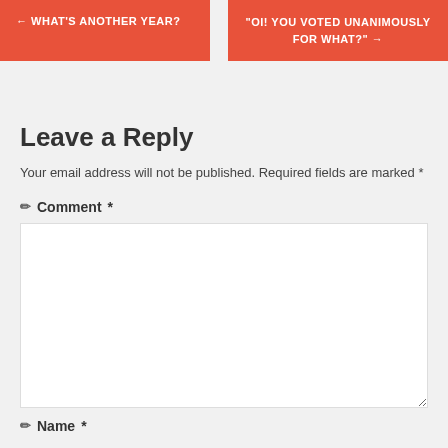← WHAT'S ANOTHER YEAR?
"OI! YOU VOTED UNANIMOUSLY FOR WHAT?" →
Leave a Reply
Your email address will not be published. Required fields are marked *
Comment *
[Figure (other): Empty comment text area input box]
Name *